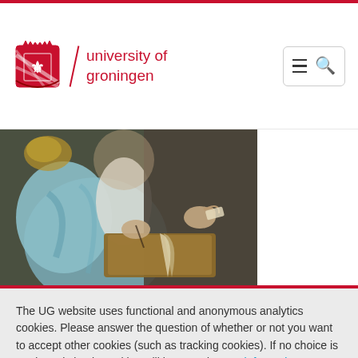[Figure (logo): University of Groningen logo with crest, diagonal slash, and university name in red]
[Figure (photo): Painting detail of a person in historical clothing writing in a book]
The UG website uses functional and anonymous analytics cookies. Please answer the question of whether or not you want to accept other cookies (such as tracking cookies). If no choice is made, only basic cookies will be stored. More information